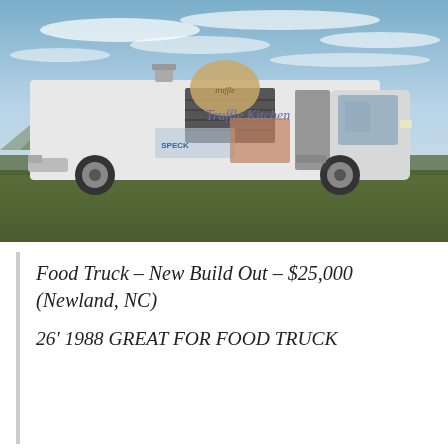[Figure (photo): A white food truck branded 'Truffle Kitchen' with images of truffles and speck (cured meat) on its side, parked on a grassy field with a blue sky background. The truck has an open service window and exhaust vent on top.]
Food Truck – New Build Out – $25,000 (Newland, NC)
26' 1988 GREAT FOR FOOD TRUCK